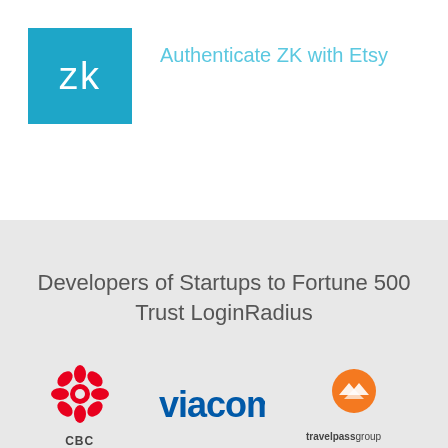[Figure (logo): ZK logo: teal/blue square with white stylized 'zk' lettering]
Authenticate ZK with Etsy
Developers of Startups to Fortune 500 Trust LoginRadius
[Figure (logo): CBC logo: red circular gem/jewel icon with 'CBC' text below]
[Figure (logo): Viacom logo: blue bold lowercase 'viacom' wordmark]
[Figure (logo): TravelPass Group logo: orange teardrop/location pin icon with 'travelpassgroup' text below]